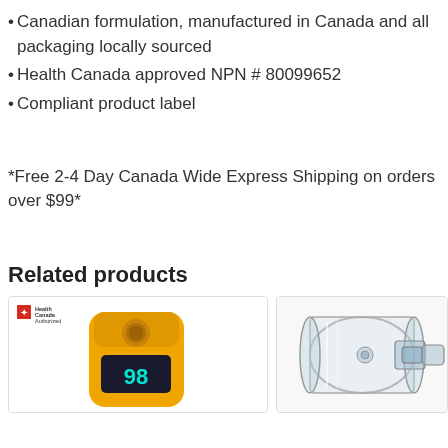Canadian formulation, manufactured in Canada and all packaging locally sourced
Health Canada approved NPN # 80099652
Compliant product label
*Free 2-4 Day Canada Wide Express Shipping on orders over $99*
Related products
[Figure (photo): Yellow pulse oximeter device with digital display showing 98, with Health Canada Authorized badge in top left corner]
[Figure (photo): Clear plastic nebulizer or spacer medical device]